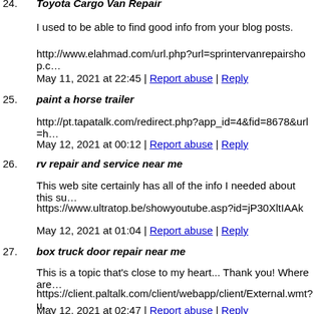24. Toyota Cargo Van Repair
I used to be able to find good info from your blog posts.
http://www.elahmad.com/url.php?url=sprintervanrepairshop.c…
May 11, 2021 at 22:45 | Report abuse | Reply
25. paint a horse trailer
http://pt.tapatalk.com/redirect.php?app_id=4&fid=8678&url=h…
May 12, 2021 at 00:12 | Report abuse | Reply
26. rv repair and service near me
This web site certainly has all of the info I needed about this su…
https://www.ultratop.be/showyoutube.asp?id=jP30XltIAAk
May 12, 2021 at 01:04 | Report abuse | Reply
27. box truck door repair near me
This is a topic that's close to my heart... Thank you! Where are…
https://client.paltalk.com/client/webapp/client/External.wmt?u…
May 12, 2021 at 02:47 | Report abuse | Reply
28. watch repair san clemente